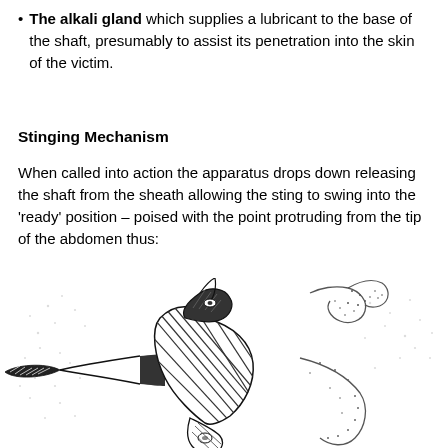The alkali gland which supplies a lubricant to the base of the shaft, presumably to assist its penetration into the skin of the victim.
Stinging Mechanism
When called into action the apparatus drops down releasing the shaft from the sheath allowing the sting to swing into the 'ready' position – poised with the point protruding from the tip of the abdomen thus:
[Figure (illustration): Black and white anatomical illustration of a bee or wasp stinging apparatus in the 'ready' position, showing the sting mechanism extended with the point protruding, including the venom sac, shaft, and surrounding abdominal structures with cross-hatching detail.]